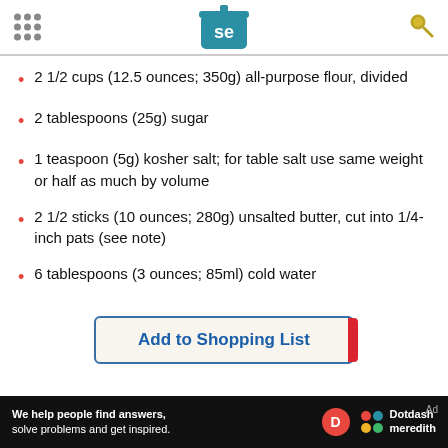Serious Eats header with logo
2 1/2 cups (12.5 ounces; 350g) all-purpose flour, divided
2 tablespoons (25g) sugar
1 teaspoon (5g) kosher salt; for table salt use same weight or half as much by volume
2 1/2 sticks (10 ounces; 280g) unsalted butter, cut into 1/4-inch pats (see note)
6 tablespoons (3 ounces; 85ml) cold water
Add to Shopping List
We help people find answers, solve problems and get inspired. Dotdash meredith